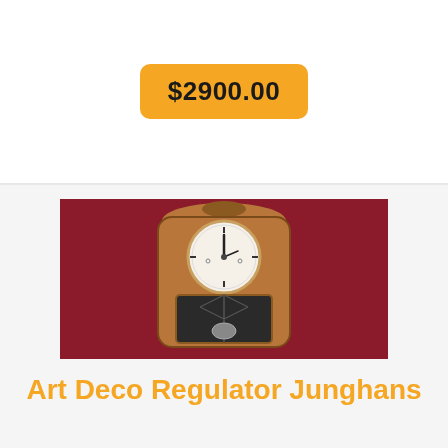$2900.00
[Figure (photo): An Art Deco Junghans regulator wall clock with a wooden case, arched top with decorative carving, white round dial with black numerals and hands, and a glass-paneled lower compartment showing a dark pendulum, photographed against a dark red/maroon wall.]
Art Deco Regulator Junghans